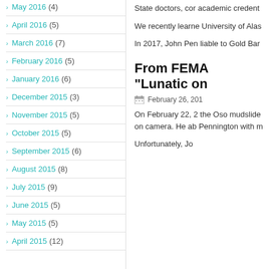May 2016 (4)
April 2016 (5)
March 2016 (7)
February 2016 (5)
January 2016 (6)
December 2015 (3)
November 2015 (5)
October 2015 (5)
September 2015 (6)
August 2015 (8)
July 2015 (9)
June 2015 (5)
May 2015 (5)
April 2015 (12)
State doctors, com academic credent
We recently learne University of Alas
In 2017, John Pen liable to Gold Bar
From FEMA “Lunatic on
February 26, 201
On February 22, 2 the Oso mudslide on camera. He ab Pennington with m
Unfortunately, Jo